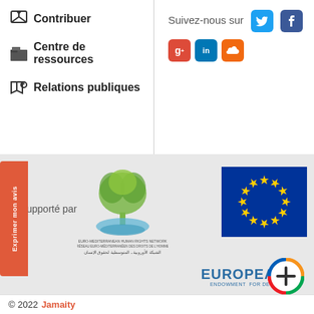Contribuer
Centre de ressources
Relations publiques
Suivez-nous sur
[Figure (logo): Social media buttons: Twitter (blue), Facebook (dark blue), Google+ (red), LinkedIn (blue), SoundCloud (orange)]
[Figure (logo): Euro-Mediterranean Human Rights Network logo with tree and water graphic, text in French and Arabic]
[Figure (logo): European Union flag - blue background with circle of yellow stars]
upporté par
[Figure (logo): European Endowment for Democracy logo with EUROPEAN text and colored circle with plus sign]
© 2022 Jamaity